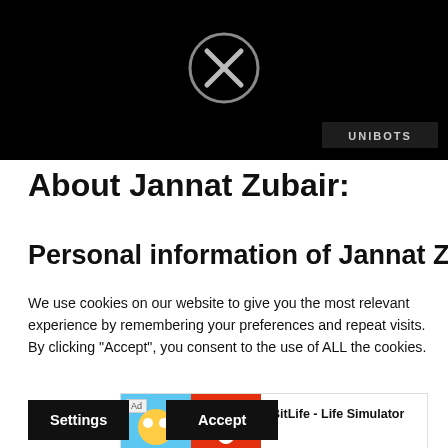[Figure (screenshot): Black video player with an X close button in the center and 'UNIBOTS' watermark in the bottom right corner]
About Jannat Zubair:
Personal information of Jannat Zubair
We use cookies on our website to give you the most relevant experience by remembering your preferences and repeat visits. By clicking “Accept”, you consent to the use of ALL the cookies.
Do no
[Figure (screenshot): Ad banner for BitLife - Life Simulator with Install button]
Settings
Accept